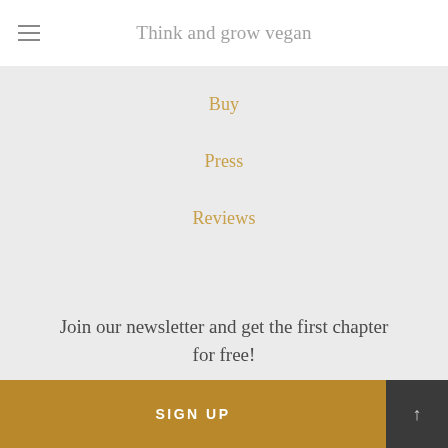Think and grow vegan
Buy
Press
Reviews
Join our newsletter and get the first chapter for free!
Enter your email address
SIGN UP